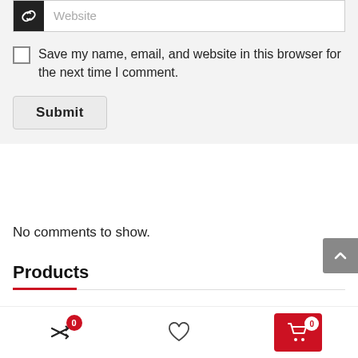Website (placeholder input)
Save my name, email, and website in this browser for the next time I comment.
Submit
No comments to show.
Products
[Figure (photo): Partial product thumbnail image showing a person]
I JUST WANTED TO SURPRISE HIM – The